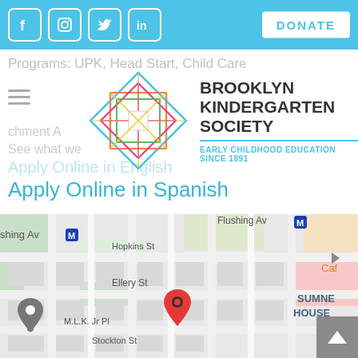Social icons: Facebook, Instagram, Twitter, LinkedIn | DONATE button
Programs: UPK, Head Start, Child Care
[Figure (logo): Brooklyn Kindergarten Society logo — colorful geometric diamond shape made of overlapping squares and triangles in pink, yellow, blue, green]
BROOKLYN KINDERGARTEN SOCIETY
EARLY CHILDHOOD EDUCATION SINCE 1891
Apply Online in English
Apply Online in Spanish
[Figure (map): Google Maps screenshot showing street map of Brooklyn neighborhood near Flushing Ave M train station. Streets visible: Hopkins St, Ellery St, M.L.K. Jr Pl, Stockton St. A red location pin marks the Brooklyn Kindergarten Society location. A grey pin is visible at left. Text 'SUMNE HOUSE' and 'Cafe' visible at right edge.]